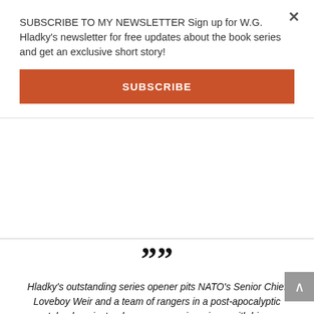SUBSCRIBE TO MY NEWSLETTER Sign up for W.G. Hladky's newsletter for free updates about the book series and get an exclusive short story!
SUBSCRIBE
””
Hladky’s outstanding series opener pits NATO’s Senior Chief Loveboy Weir and a team of rangers in a post-apocalyptic wasteland against a dangerous warrior prince, with his own sinister agenda... Hladky offers a vast, intricate futuristic world that vibrates with conflicts and ideas and comes across vividly, with hints of deeper waters to explore... Equally intriguing are Hladky’s well-